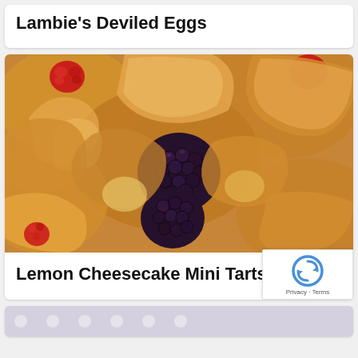Lambie's Deviled Eggs
[Figure (photo): Close-up photo of lemon cheesecake mini tarts in puff pastry cups topped with blackberries and raspberries]
Lemon Cheesecake Mini Tarts
[Figure (photo): Partial view of another food dish at the bottom of the page]